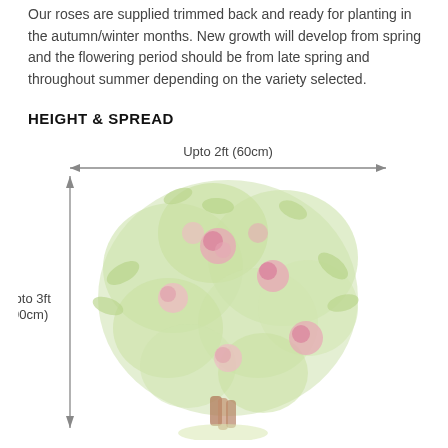Our roses are supplied trimmed back and ready for planting in the autumn/winter months. New growth will develop from spring and the flowering period should be from late spring and throughout summer depending on the variety selected.
HEIGHT & SPREAD
[Figure (illustration): Illustration of a rose bush showing height and spread dimensions. A horizontal double-headed arrow at the top labeled 'Upto 2ft (60cm)' indicates spread. A vertical double-headed arrow on the left labeled 'Upto 3ft (90cm)' indicates height. The bush is drawn in light green with pink roses.]